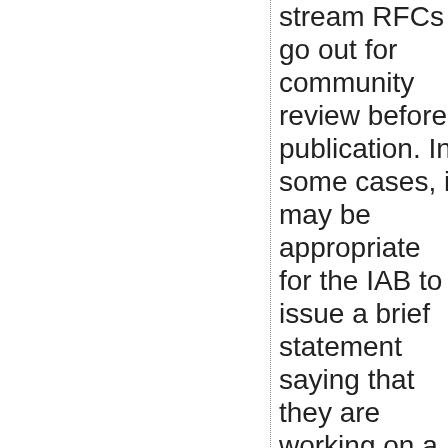stream RFCs go out for community review before publication. In some cases, it may be appropriate for the IAB to issue a brief statement saying that they are working on a topic, and then follow up with a more in-